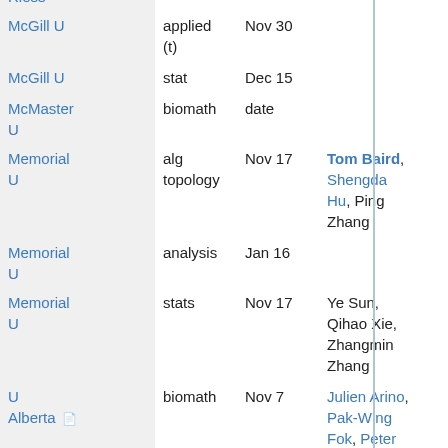| Institution | Area | Date | Names |
| --- | --- | --- | --- |
| Riess (partial, top cut off) |  |  |  |
| McGill U | applied (t) | Nov 30 |  |
| McGill U | stat | Dec 15 |  |
| McMaster U | biomath | date |  |
| Memorial U | alg topology | Nov 17 | Tom Baird, Shengda Hu, Ping Zhang |
| Memorial U | analysis | Jan 16 |  |
| Memorial U | stats | Nov 17 | Ye Sun, Qihao Xie, Zhangmin Zhang |
| U Alberta | biomath | Nov 7 | Julien Arino, Pak-Wing Fok, Peter Hinow, Hao Wang |
| U Alberta | math | Nov 7 | Vincent |